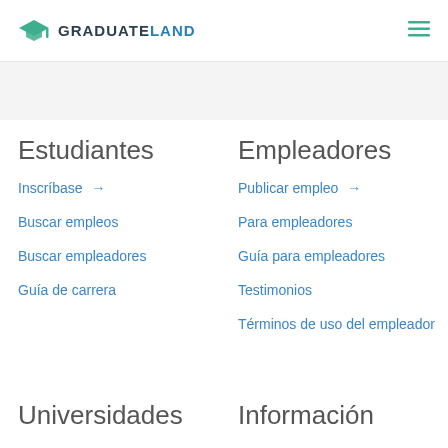GRADUATELAND
Estudiantes
Inscríbase →
Buscar empleos
Buscar empleadores
Guía de carrera
Empleadores
Publicar empleo →
Para empleadores
Guía para empleadores
Testimonios
Términos de uso del empleador
Universidades
Información